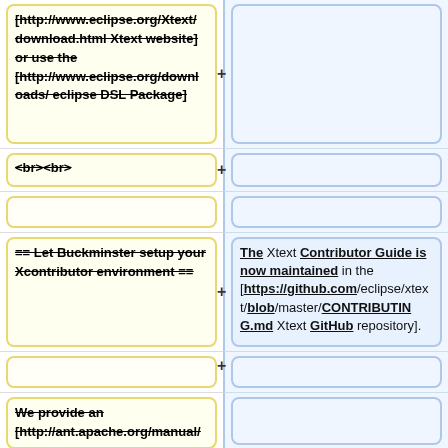[http://www.eclipse.org/Xtext/download.html Xtext website] or use the [http://www.eclipse.org/downloads/ eclipse DSL Package]
<br><br>
== Let Buckminster setup your Xcontributor environment ==
The Xtext Contributor Guide is now maintained in the [https://github.com/eclipse/xtext/blob/master/CONTRIBUTING.md Xtext GitHub repository].
We provide an [http://ant.apache.org/manual/